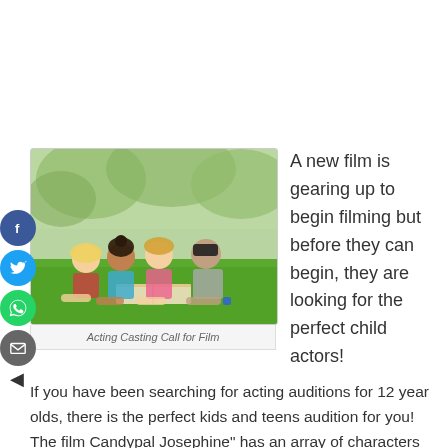[Figure (photo): Four children lying on grass looking at a book outdoors, with trees in the background]
Acting Casting Call for Film
A new film is gearing up to begin filming but before they can begin, they are looking for the perfect child actors!
If you have been searching for acting auditions for 12 year olds, there is the perfect kids and teens audition for you! The film Candypal Josephine" has an array of characters...